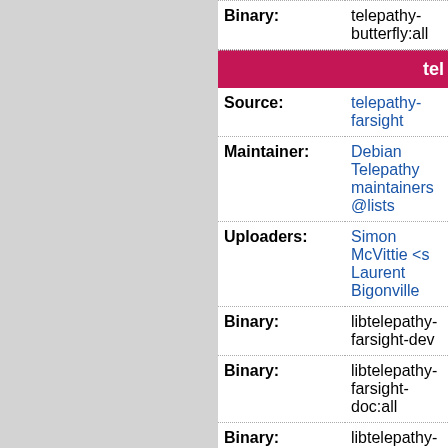| Field | Value |
| --- | --- |
| Binary: | telepathy-butterfly:all |
| (header) | tel... |
| Source: | telepathy-farsight |
| Maintainer: | Debian Telepathy maintainers@lists... |
| Uploaders: | Simon McVittie <s... Laurent Bigonville... |
| Binary: | libtelepathy-farsight-dev |
| Binary: | libtelepathy-farsight-doc:all |
| Binary: | libtelepathy-farsight0 |
| Binary: | libtelepathy-farsight0-dbg |
| Binary: | python-tpfarsight |